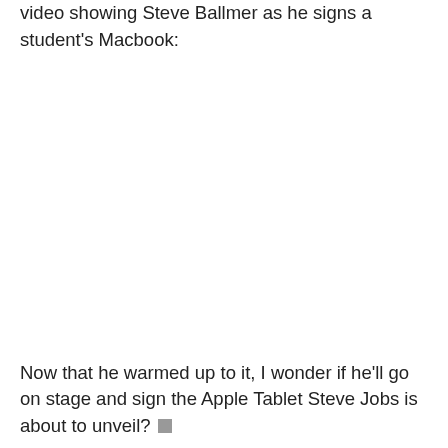video showing Steve Ballmer as he signs a student's Macbook:
[Figure (photo): Blank/white area representing an embedded video placeholder showing Steve Ballmer signing a student's Macbook]
Now that he warmed up to it, I wonder if he'll go on stage and sign the Apple Tablet Steve Jobs is about to unveil? ▪